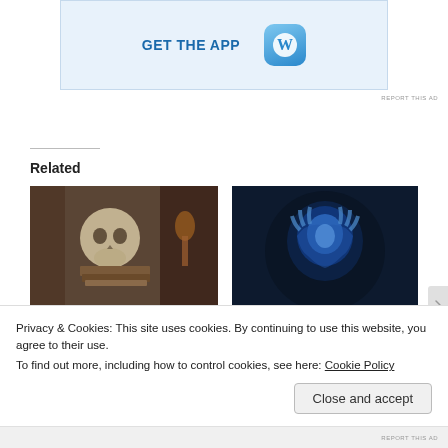[Figure (screenshot): WordPress app advertisement banner with 'GET THE APP' text in blue and WordPress logo icon on light blue background]
REPORT THIS AD
Related
[Figure (photo): Skull resting on old books with a candle and ghost-like figure in background, dark moody tones]
What Every Author Fears the Most
October 2, 2016
[Figure (photo): Person with hands on head glowing in blue light, distressed or stressed expression]
Writing Is the Least Important Part of Your Book
Privacy & Cookies: This site uses cookies. By continuing to use this website, you agree to their use. To find out more, including how to control cookies, see here: Cookie Policy
Close and accept